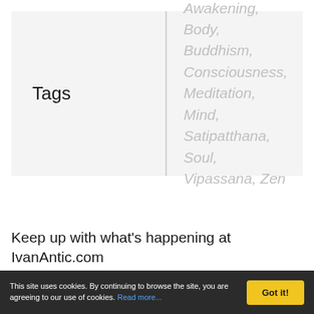Tags  Awakening, Body, Buddhism, Consciousness, Meditation, Mind, Satipatthana, Soul, Vipassana, Zen
Keep up with what's happening at IvanAntic.com
This site uses cookies. By continuing to browse the site, you are agreeing to our use of cookies. Read more...